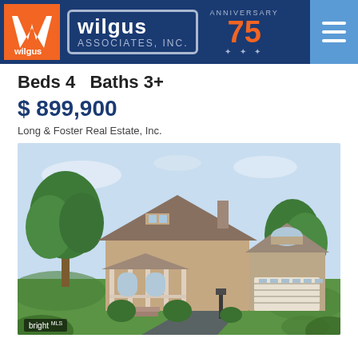[Figure (logo): Wilgus Associates, Inc. logo with orange W icon, blue bordered text, and 75th anniversary badge]
Beds 4   Baths 3+
$ 899,900
Long & Foster Real Estate, Inc.
[Figure (photo): Exterior photo of a two-story Cape Cod style home with attached garage, wrap-around porch, surrounded by mature trees and landscaping, with a paved driveway. Bright MLS watermark in lower left corner.]